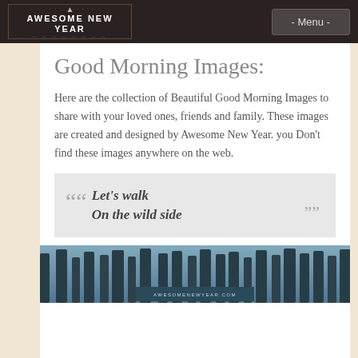AWESOME NEW YEAR   - Menu -
Good Morning Images:
Here are the collection of Beautiful Good Morning Images to share with your loved ones, friends and family. These images are created and designed by Awesome New Year. you Don't find these images anywhere on the web.
““ Let's walk On the wild side ””
[Figure (photo): Forest/nature image with misty trees and AWESOMENEWYEAR.COM banner at bottom]